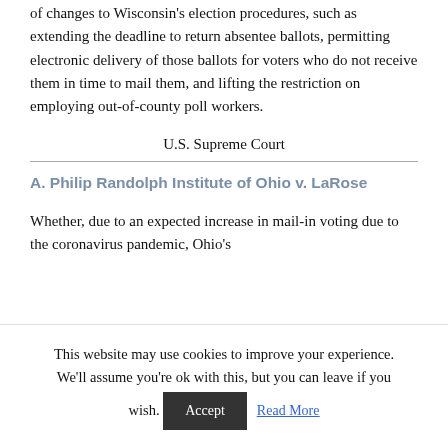of changes to Wisconsin's election procedures, such as extending the deadline to return absentee ballots, permitting electronic delivery of those ballots for voters who do not receive them in time to mail them, and lifting the restriction on employing out-of-county poll workers.
U.S. Supreme Court
A. Philip Randolph Institute of Ohio v. LaRose
Whether, due to an expected increase in mail-in voting due to the coronavirus pandemic, Ohio's
This website may use cookies to improve your experience. We'll assume you're ok with this, but you can leave if you wish.